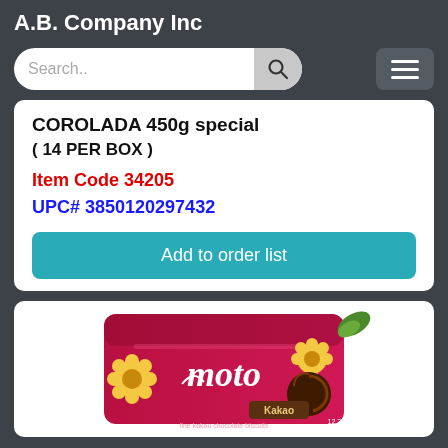A.B. Company Inc
Search..
COROLADA 450g  special
( 14 PER BOX )
Item Code 34205
UPC# 3850120297432
Add to order list
[Figure (photo): Photo of a pink/red Moto Kakao cookie biscuit box with flower-shaped biscuits and chocolate filling visible on the packaging]